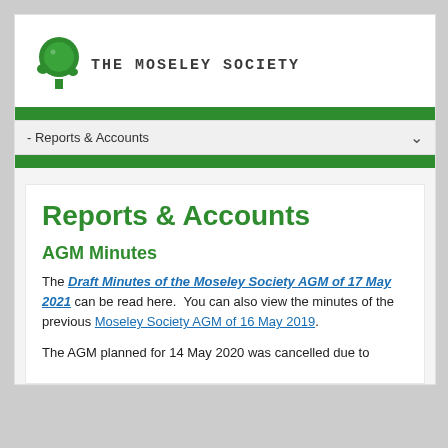[Figure (logo): The Moseley Society logo: green tree icon with text 'THE MOSELEY SOCIETY' in monospaced uppercase]
- Reports & Accounts
Reports & Accounts
AGM Minutes
The Draft Minutes of the Moseley Society AGM of 17 May 2021 can be read here.  You can also view the minutes of the previous Moseley Society AGM of 16 May 2019.
The AGM planned for 14 May 2020 was cancelled due to